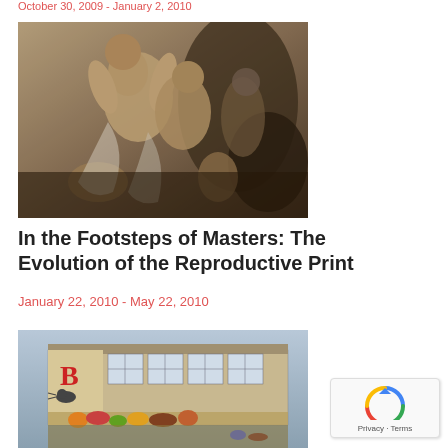October 30, 2009 - January 2, 2010
[Figure (photo): Sepia-toned engraving or print depicting muscular figures in a dramatic classical scene, baroque style, figures wrestling or in struggle]
In the Footsteps of Masters: The Evolution of the Reproductive Print
January 22, 2010 - May 22, 2010
[Figure (photo): Colorful illustration of a historic market or shop front scene with a large red letter B and a cat logo, depicting a busy street market stall with produce and goods displayed]